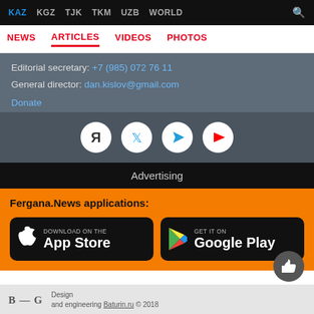KAZ  KGZ  TJK  TKM  UZB  WORLD
NEWS  ARTICLES  VIDEOS  PHOTOS
Editorial secretary: +7 (985) 072 76 11
General director: dan.kislov@gmail.com
Donate
[Figure (infographic): Social media icons: Yandex, Twitter, Telegram, YouTube]
Advertising
Fergana.News applications:
[Figure (infographic): App Store download button]
[Figure (infographic): Google Play download button]
Design and engineering Baturin.ru © 2018